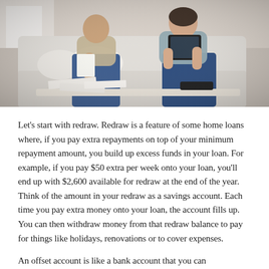[Figure (photo): A couple sitting on a sofa looking at documents and a tablet, with papers spread on a coffee table in front of them.]
Let's start with redraw. Redraw is a feature of some home loans where, if you pay extra repayments on top of your minimum repayment amount, you build up excess funds in your loan. For example, if you pay $50 extra per week onto your loan, you'll end up with $2,600 available for redraw at the end of the year. Think of the amount in your redraw as a savings account. Each time you pay extra money onto your loan, the account fills up. You can then withdraw money from that redraw balance to pay for things like holidays, renovations or to cover expenses.
An offset account is like a bank account that you can